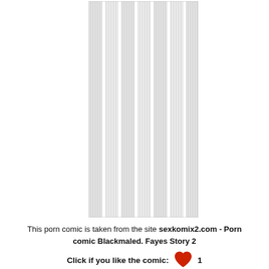[Figure (illustration): A tall narrow comic panel showing vertical striped/textured imagery, appearing as dense vertical lines forming a curtain-like or abstract pattern in light gray tones.]
This porn comic is taken from the site sexkomix2.com - Porn comic Blackmaled. Fayes Story 2
Click if you like the comic: